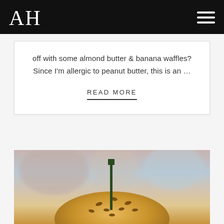AH
off with some almond butter & banana waffles? Since I’m allergic to peanut butter, this is an …
READ MORE
[Figure (photo): Close-up food photo of a sesame seed burger bun with a green toothpick/skewer inserted on top, with blurred background]